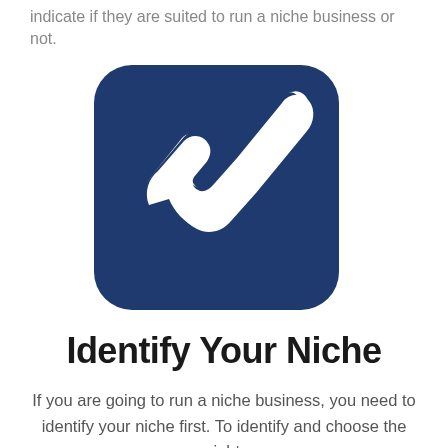indicate if they are suited to run a niche business or not.
[Figure (illustration): A dark navy blue rounded square icon containing a white checkmark symbol with a stylized curved/looping design at the bottom left of the checkmark stroke.]
Identify Your Niche
If you are going to run a niche business, you need to identify your niche first. To identify and choose the right